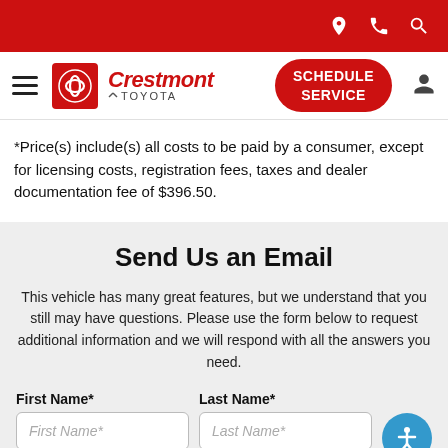Crestmont Toyota — navigation header with Schedule Service button
*Price(s) include(s) all costs to be paid by a consumer, except for licensing costs, registration fees, taxes and dealer documentation fee of $396.50.
Send Us an Email
This vehicle has many great features, but we understand that you still may have questions. Please use the form below to request additional information and we will respond with all the answers you need.
First Name* | Last Name*